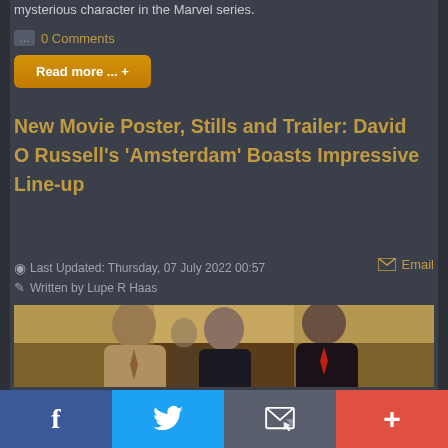mysterious character in the Marvel series.
0 Comments
Read more ... +
New Movie Poster, Stills and Trailer: David O Russell's 'Amsterdam' Boasts Impressive Line-up
Last Updated: Thursday, 07 July 2022 00:57
Email
Written by Lupe R Haas
[Figure (photo): Three people standing together in what appears to be an indoor setting with wood-paneled walls. A man on the left in a suit, a woman in the center in dark clothing, and a man on the right in a dark suit.]